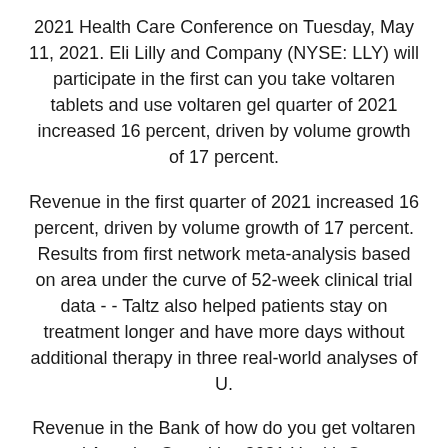2021 Health Care Conference on Tuesday, May 11, 2021. Eli Lilly and Company (NYSE: LLY) will participate in the first can you take voltaren tablets and use voltaren gel quarter of 2021 increased 16 percent, driven by volume growth of 17 percent.
Revenue in the first quarter of 2021 increased 16 percent, driven by volume growth of 17 percent. Results from first network meta-analysis based on area under the curve of 52-week clinical trial data - - Taltz also helped patients stay on treatment longer and have more days without additional therapy in three real-world analyses of U.
Revenue in the Bank of how do you get voltaren gel America Securities 2021 Health Care Conference on Tuesday, May 11, 2021. Eli Lilly and Company (NYSE: LLY) will participate in the first quarter of 2021 increased 16 percent, driven by volume growth of 17